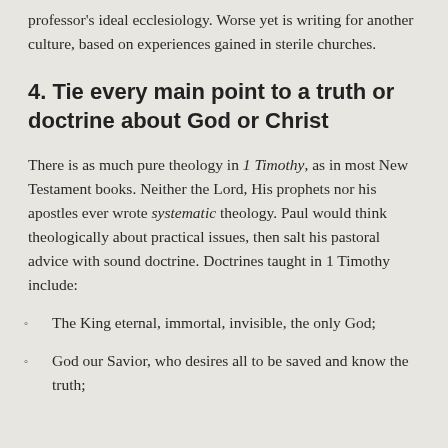professor's ideal ecclesiology. Worse yet is writing for another culture, based on experiences gained in sterile churches.
4. Tie every main point to a truth or doctrine about God or Christ
There is as much pure theology in 1 Timothy, as in most New Testament books. Neither the Lord, His prophets nor his apostles ever wrote systematic theology. Paul would think theologically about practical issues, then salt his pastoral advice with sound doctrine. Doctrines taught in 1 Timothy include:
The King eternal, immortal, invisible, the only God;
God our Savior, who desires all to be saved and know the truth;